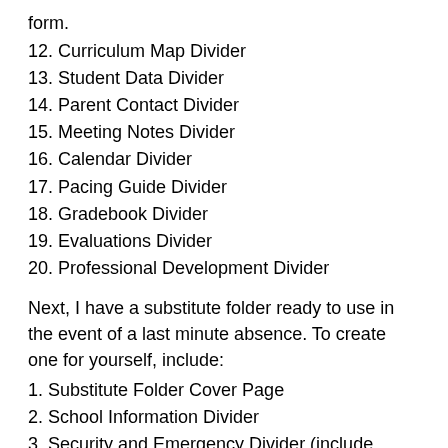form.
12. Curriculum Map Divider
13. Student Data Divider
14. Parent Contact Divider
15. Meeting Notes Divider
16. Calendar Divider
17. Pacing Guide Divider
18. Gradebook Divider
19. Evaluations Divider
20. Professional Development Divider
Next, I have a substitute folder ready to use in the event of a last minute absence. To create one for yourself, include:
1. Substitute Folder Cover Page
2. School Information Divider
3. Security and Emergency Divider (include directions based on school/district policy)